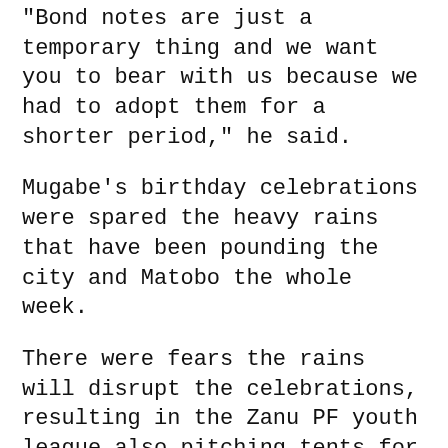“Bond notes are just a temporary thing and we want you to bear with us because we had to adopt them for a shorter period,” he said.
Mugabe’s birthday celebrations were spared the heavy rains that have been pounding the city and Matobo the whole week.
There were fears the rains will disrupt the celebrations, resulting in the Zanu PF youth league also pitching tents for ordinary people.
The venue, football field, was muddy, making movement almost impossible.
Some people had to wear gumboots, while others walked barefaced.